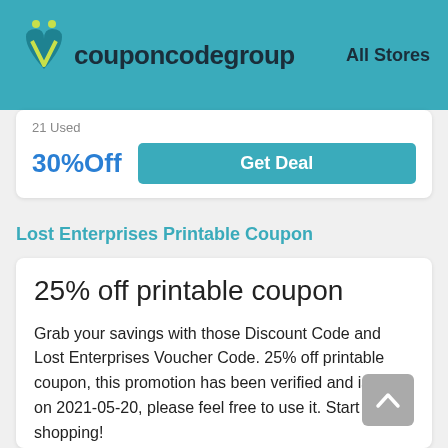couponcodegroup | All Stores
21 Used
30%Off
Get Deal
Lost Enterprises Printable Coupon
25% off printable coupon
Grab your savings with those Discount Code and Lost Enterprises Voucher Code. 25% off printable coupon, this promotion has been verified and is valid on 2021-05-20, please feel free to use it. Start shopping!